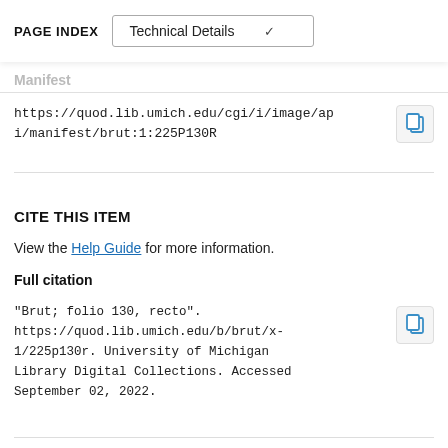PAGE INDEX | Technical Details
Manifest
https://quod.lib.umich.edu/cgi/i/image/api/manifest/brut:1:225P130R
CITE THIS ITEM
View the Help Guide for more information.
Full citation
"Brut; folio 130, recto". https://quod.lib.umich.edu/b/brut/x-1/225p130r. University of Michigan Library Digital Collections. Accessed September 02, 2022.